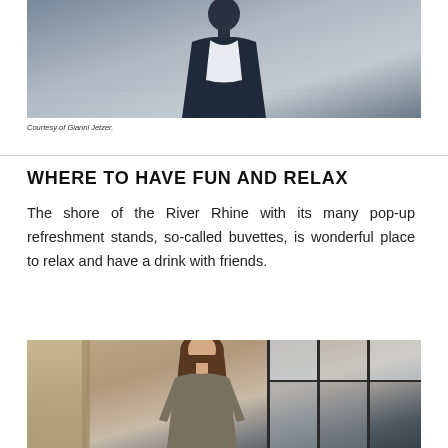[Figure (photo): Portrait photo of a person in a dark navy blazer against a grey architectural background]
Courtesy of Gianni Jetzer.
WHERE TO HAVE FUN AND RELAX
The shore of the River Rhine with its many pop-up refreshment stands, so-called buvettes, is wonderful place to relax and have a drink with friends.
[Figure (photo): Portrait photo of a woman with long brown hair standing in front of large windows with curtains in an interior setting]